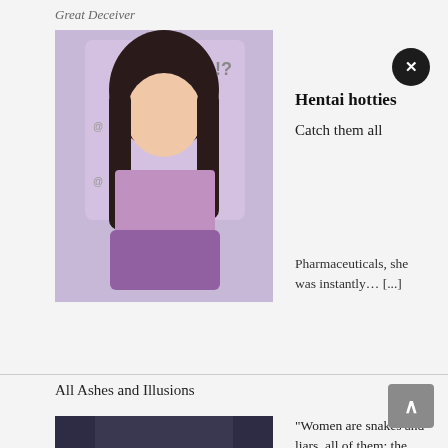Great Deceiver
[Figure (illustration): Anime/manga style illustration of a woman with dark hair, partially undressed, purple background]
Hentai hotties
Catch them all
Pharmaceuticals, she was instantly... [...]
All Ashes and Illusions
[Figure (illustration): Manga cover art showing two figures embracing, text 'All Ashes and...' on dark background]
"Women are snakes and liars, all of them: the more beautiful, the more conniving. Don't let your guard down, or they will ruin you." Yuel was only six years old... [...]
Beat Refle
This new take on rhythm games has you massage beautiful women in time to the music. The patrons of your massage parlor have not only sore bodies, but unique